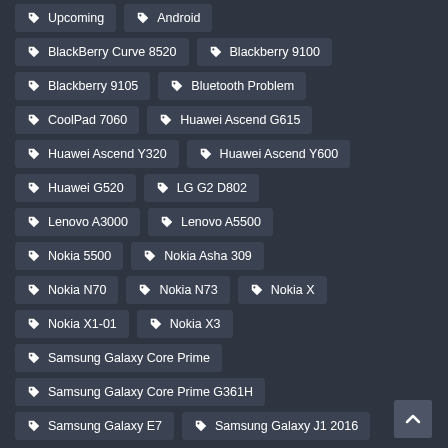Upcoming
Android
BlackBerry Curve 8520
Blackberry 9100
Blackberry 9105
Bluetooth Problem
CoolPad 7060
Huawei Ascend G615
Huawei Ascend Y320
Huawei Ascend Y600
Huawei G520
LG G2 D802
Lenovo A3000
Lenovo A5500
Nokia 5500
Nokia Asha 309
Nokia N70
Nokia N73
Nokia X
Nokia X1-01
Nokia X3
Samsung Galaxy Core Prime
Samsung Galaxy Core Prime G361H
Samsung Galaxy E7
Samsung Galaxy J1 2016